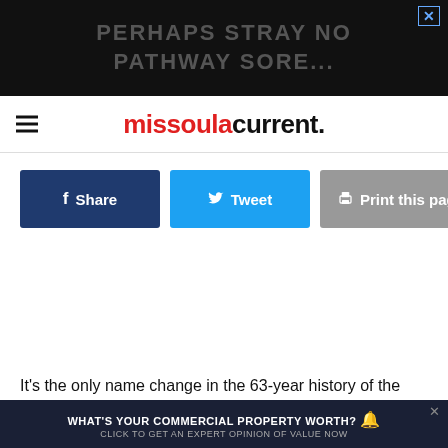[Figure (screenshot): Top black banner advertisement with large gray text overlay and close button in top-right corner]
missoula current.
[Figure (infographic): Three social sharing buttons: Share (dark blue), Tweet (light blue), Print this page (gray)]
It's the only name change in the 63-year history of the credit
[Figure (screenshot): Bottom dark advertisement banner: WHAT'S YOUR COMMERCIAL PROPERTY WORTH? CLICK TO GET AN EXPERT OPINION OF VALUE NOW]